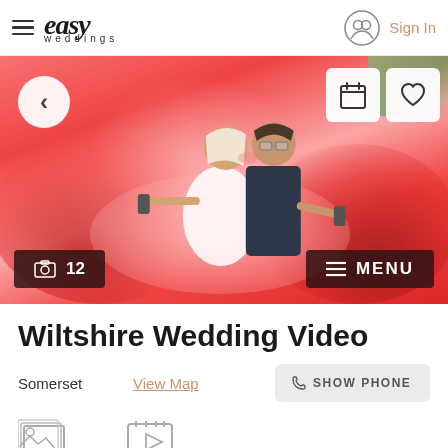easy weddings — Sign In
[Figure (photo): Wedding couple kissing surrounded by red smoke bombs, with navigation and action overlays including back arrow, calendar icon, heart icon, photo count '12', and MENU button]
Wiltshire Wedding Video
Somerset   View Map   SHOW PHONE
[Figure (other): Bottom icon row showing photo gallery icon and video play icon]